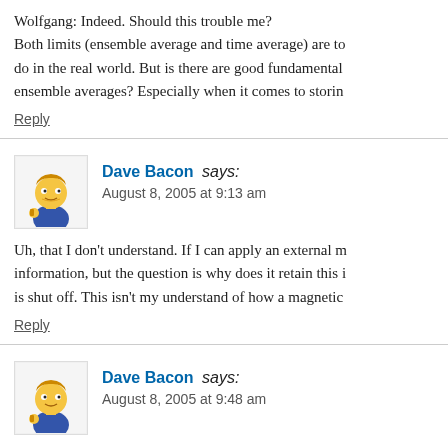Wolfgang: Indeed. Should this trouble me? Both limits (ensemble average and time average) are to do in the real world. But is there are good fundamental ensemble averages? Especially when it comes to storin
Reply
Dave Bacon says: August 8, 2005 at 9:13 am
Uh, that I don't understand. If I can apply an external m information, but the question is why does it retain this i is shut off. This isn't my understand of how a magnetic
Reply
Dave Bacon says: August 8, 2005 at 9:48 am